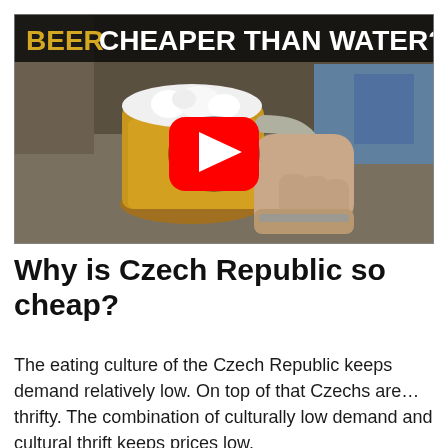[Figure (screenshot): YouTube video thumbnail showing a hand holding a large glass beer mug filled with golden beer, with a YouTube play button overlay. Text overlay at top reads 'BEER CHEAPER THAN WATER?' with BEER in gold/yellow and the rest in white, on a dark background.]
Why is Czech Republic so cheap?
The eating culture of the Czech Republic keeps demand relatively low. On top of that Czechs are… thrifty. The combination of culturally low demand and cultural thrift keeps prices low.